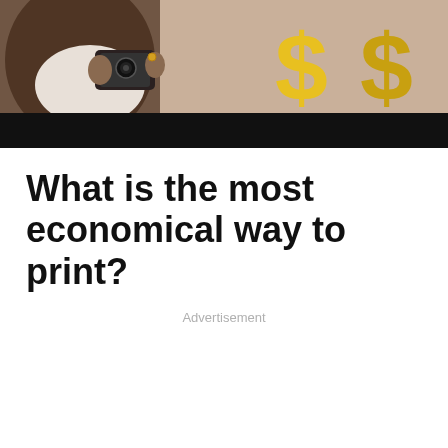[Figure (photo): Photo of a person holding a phone/camera with yellow dollar sign symbols in the background, with a dark black bar beneath the photo]
What is the most economical way to print?
Advertisement